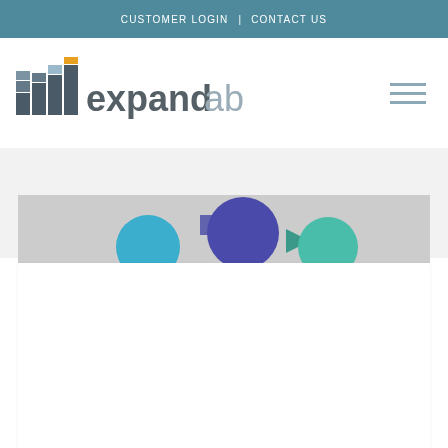CUSTOMER LOGIN  |  CONTACT US
[Figure (logo): Expandable company logo with bar chart icon and wordmark 'expandable']
[Figure (illustration): Partial banner image showing colorful circular icons in blue, purple, and teal on a light gray background]